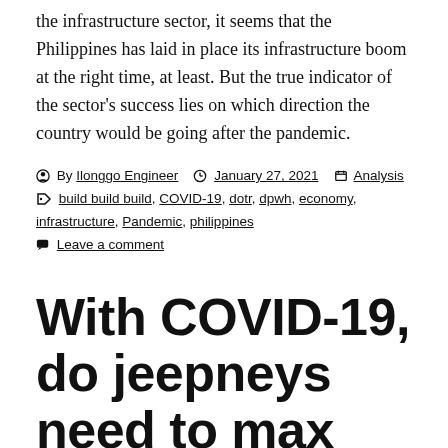the infrastructure sector, it seems that the Philippines has laid in place its infrastructure boom at the right time, at least. But the true indicator of the sector's success lies on which direction the country would be going after the pandemic.
By Ilonggo Engineer  January 27, 2021  Analysis
Tags: build build build, COVID-19, dotr, dpwh, economy, infrastructure, Pandemic, philippines
Leave a comment
With COVID-19, do jeepneys need to max out capacity?